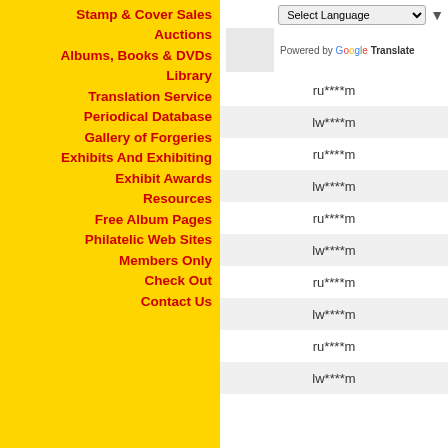Stamp & Cover Sales
Auctions
Albums, Books & DVDs
Library
Translation Service
Periodical Database
Gallery of Forgeries
Exhibits And Exhibiting
Exhibit Awards
Resources
Free Album Pages
Philatelic Web Sites
Members Only
Check Out
Contact Us
Select Language (dropdown) Powered by Google Translate
ru****m lw****m ru****m lw****m ru****m lw****m ru****m lw****m ru****m lw****m